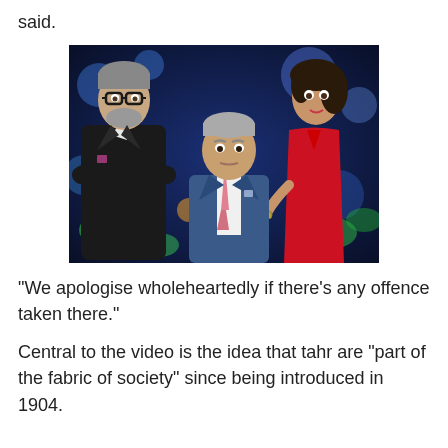said.
[Figure (photo): Three TV show hosts posing in front of a colorful studio background. A tall man with glasses and a beard wearing a black suit stands on the left with arms crossed. A woman in a red dress stands on the right. A man in a blue suit with a pink tie is seated/crouching in the center foreground.]
"We apologise wholeheartedly if there's any offence taken there."
Central to the video is the idea that tahr are "part of the fabric of society" since being introduced in 1904.